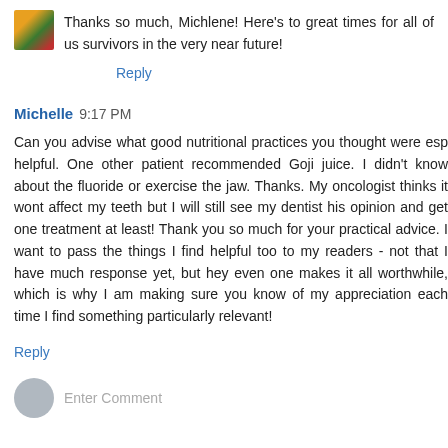Thanks so much, Michlene! Here's to great times for all of us survivors in the very near future!
Reply
Michelle 9:17 PM
Can you advise what good nutritional practices you thought were esp helpful. One other patient recommended Goji juice. I didn't know about the fluoride or exercise the jaw. Thanks. My oncologist thinks it wont affect my teeth but I will still see my dentist his opinion and get one treatment at least! Thank you so much for your practical advice. I want to pass the things I find helpful too to my readers - not that I have much response yet, but hey even one makes it all worthwhile, which is why I am making sure you know of my appreciation each time I find something particularly relevant!
Reply
Enter Comment